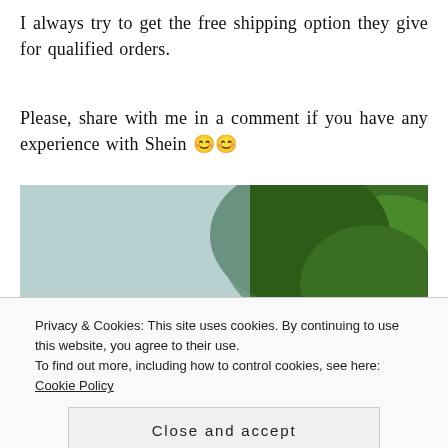I always try to get the free shipping option they give for qualified orders.
Please, share with me in a comment if you have any experience with Shein 😊😊
[Figure (photo): Shein logo overlaid on a photo of trees/outdoor scene, with two smaller photos at the bottom]
Privacy & Cookies: This site uses cookies. By continuing to use this website, you agree to their use.
To find out more, including how to control cookies, see here: Cookie Policy
Close and accept